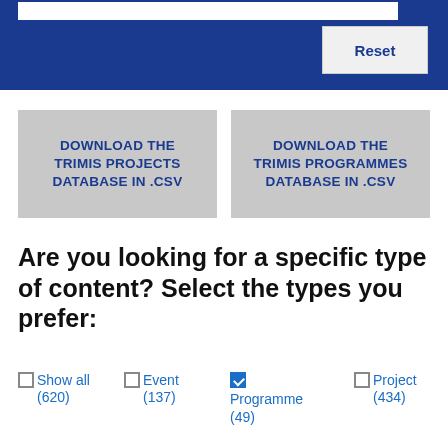[Figure (screenshot): Blue header bar with white search input box at top and a Reset button (light gray background, dark blue bold text)]
DOWNLOAD THE TRIMIS PROJECTS DATABASE IN .CSV
DOWNLOAD THE TRIMIS PROGRAMMES DATABASE IN .CSV
Are you looking for a specific type of content? Select the types you prefer:
Show all (620)
Event (137)
Programme (49)
Project (434)